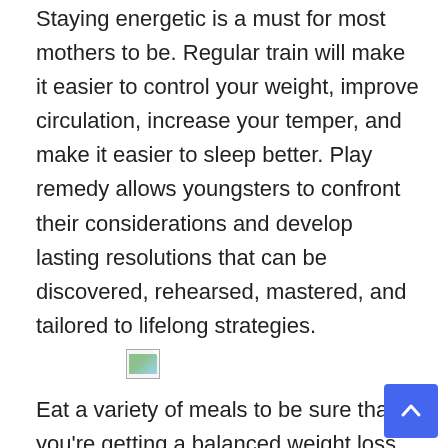Staying energetic is a must for most mothers to be. Regular train will make it easier to control your weight, improve circulation, increase your temper, and make it easier to sleep better. Play remedy allows youngsters to confront their considerations and develop lasting resolutions that can be discovered, rehearsed, mastered, and tailored to lifelong strategies.
[Figure (photo): A small broken/placeholder image icon showing a landscape thumbnail]
Eat a variety of meals to be sure that you're getting a balanced weight loss program and that your physique is receiving all the nutrients it wants. Cutting off fats, which causes flames to flare on the grill, can assist keep away from charring; strive gently sautéing, steaming, or braising these meals in liquid as a substitute.